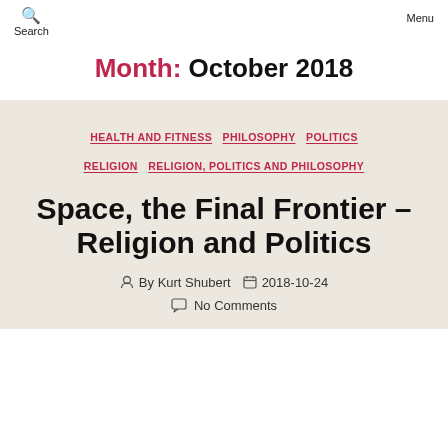Search   Menu
Month: October 2018
HEALTH AND FITNESS  PHILOSOPHY  POLITICS  RELIGION  RELIGION, POLITICS AND PHILOSOPHY
Space, the Final Frontier – Religion and Politics
By Kurt Shubert   2018-10-24   No Comments